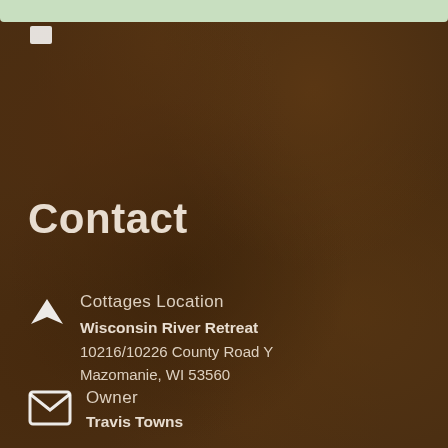Contact
Cottages Location
Wisconsin River Retreat
10216/10226 County Road Y
Mazomanie, WI 53560
Owner
Travis Towns